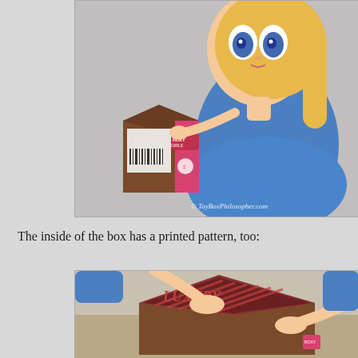[Figure (photo): A cartoon-like anime doll with big blue eyes, blonde hair, and a blue dress, posed next to a small brown shipping box labeled 'Roxy Girls' with pink accents and a barcode. Watermark reads '© ToyBoxPhilosopher.com'.]
The inside of the box has a printed pattern, too:
[Figure (photo): Close-up of the doll's hands opening a brown box that has 'LUXURY' printed in red/burgundy stripes on the inside flap, with a small sticker visible on the box.]